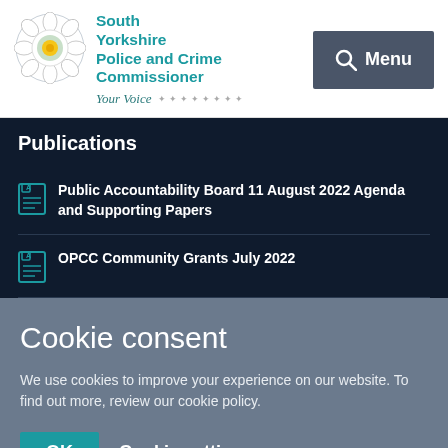[Figure (logo): South Yorkshire Police and Crime Commissioner logo with Yorkshire rose emblem, 'Your Voice' tagline, and decorative divider]
Publications
Public Accountability Board 11 August 2022 Agenda and Supporting Papers
OPCC Community Grants July 2022
Cookie consent
We use cookies to improve your experience on our website. To find out more, review our cookie policy.
OK  Cookie settings